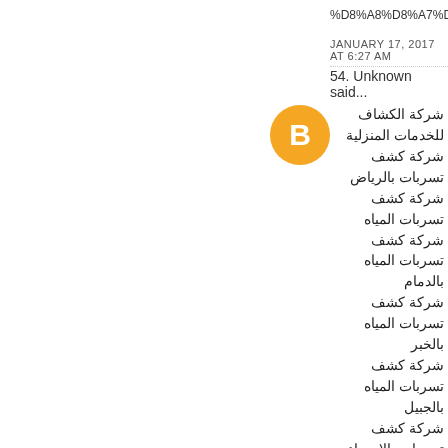%D8%A8%D8%A7%D9%84%D8%AC%
JANUARY 17, 2017 AT 6:27 AM
54. Unknown said...
[Figure (logo): Blogger orange circle avatar icon with white letter B]
شركة الكشاف للخدمات المنزلية
شركة كشف تسربات بالرياض
شركة كشف تسربات المياه
شركة كشف تسربات المياه بالدمام
شركة كشف تسربات المياه بالخبر
شركة كشف تسربات المياه بالجبيل
شركة كشف تسربات بالإحساء
شركة كشف تسربات بجدة
شركة كشف تسربات بالقطيف
كشف تسربات بالرياض
شركة كشف تسربات بالقصيم
شركة كشف تسربات المياه بالمدينة
شركة كشف تسربات المياه بالخرج
شركة كشف تسربات بالمزاحمية
شركة كشف تسربات المياه
شركة كشف تسربات
شركة إصلاح تسربات المياه